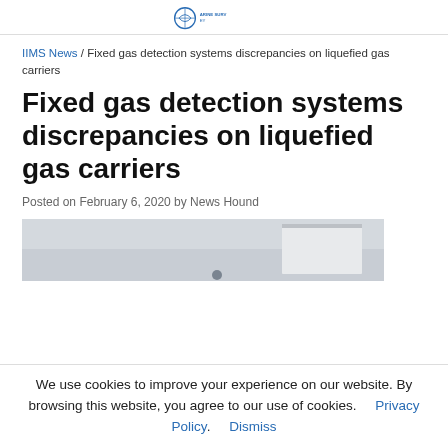[IIMS logo]
IIMS News / Fixed gas detection systems discrepancies on liquefied gas carriers
Fixed gas detection systems discrepancies on liquefied gas carriers
Posted on February 6, 2020 by News Hound
[Figure (photo): Partial photo of an indoor industrial or marine equipment installation, showing a white wall/panel area]
We use cookies to improve your experience on our website. By browsing this website, you agree to our use of cookies.    Privacy Policy.      Dismiss